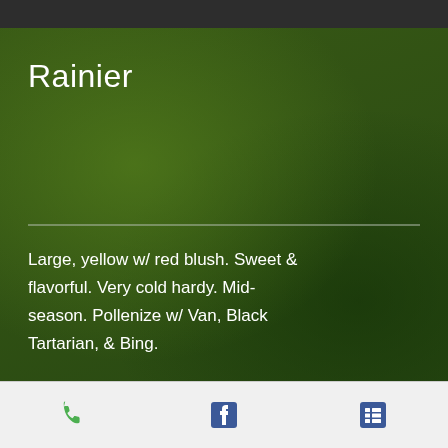Rainier
Large, yellow w/ red blush. Sweet & flavorful. Very cold hardy. Mid-season. Pollenize w/ Van, Black Tartarian, & Bing.
Royal Rainier [SOLD OUT]
[Figure (infographic): Mobile app footer navigation bar with phone icon, Facebook icon, and a list/menu icon]